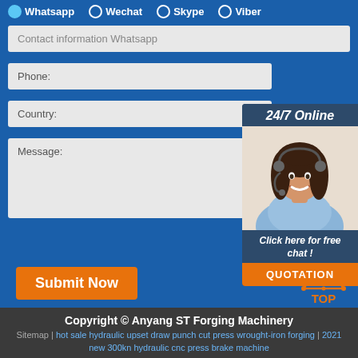Whatsapp (selected), Wechat, Skype, Viber
Contact information Whatsapp
Phone:
Country:
Message:
[Figure (photo): 24/7 Online chat widget with a smiling woman wearing a headset, 'Click here for free chat!' text, and an orange QUOTATION button]
Submit Now
Copyright © Anyang ST Forging Machinery
Sitemap | hot sale hydraulic upset draw punch cut press wrought-iron forging | 2021 new 300kn hydraulic cnc press brake machine